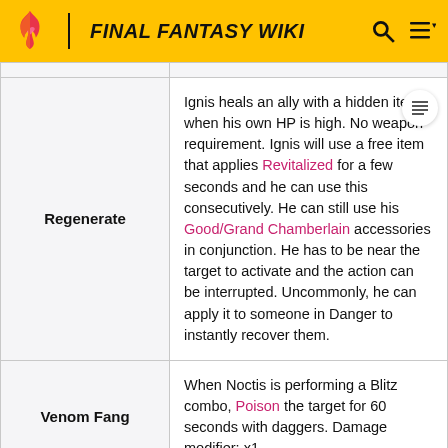FINAL FANTASY WIKI
| Ability | Description |
| --- | --- |
| Regenerate | Ignis heals an ally with a hidden item when his own HP is high. No weapon requirement. Ignis will use a free item that applies Revitalized for a few seconds and he can use this consecutively. He can still use his Good/Grand Chamberlain accessories in conjunction. He has to be near the target to activate and the action can be interrupted. Uncommonly, he can apply it to someone in Danger to instantly recover them. |
| Venom Fang | When Noctis is performing a Blitz combo, Poison the target for 60 seconds with daggers. Damage modifier: x1 |